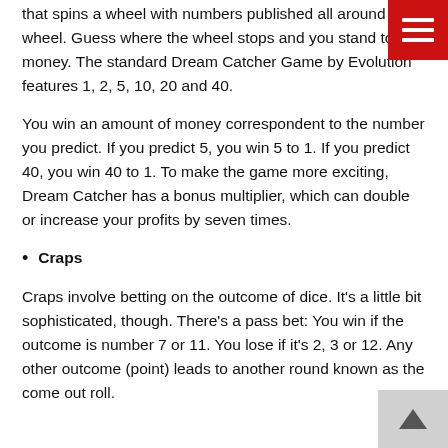that spins a wheel with numbers published all around the wheel. Guess where the wheel stops and you stand to win money. The standard Dream Catcher Game by Evolution features 1, 2, 5, 10, 20 and 40.
You win an amount of money correspondent to the number you predict. If you predict 5, you win 5 to 1. If you predict 40, you win 40 to 1. To make the game more exciting, Dream Catcher has a bonus multiplier, which can double or increase your profits by seven times.
Craps
Craps involve betting on the outcome of dice. It's a little bit sophisticated, though. There's a pass bet: You win if the outcome is number 7 or 11. You lose if it's 2, 3 or 12. Any other outcome (point) leads to another round known as the come out roll.
[Figure (other): Red hamburger menu button in top-right corner]
[Figure (other): Grey back-to-top arrow button in bottom-right corner]